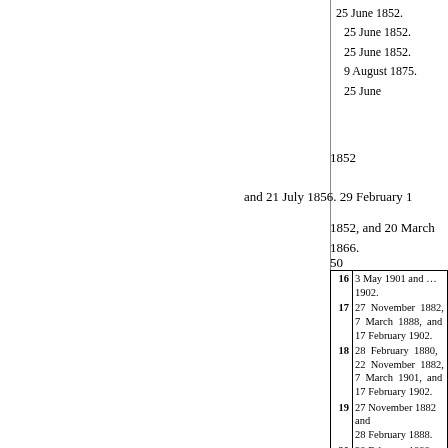25 June 1852.
25 June 1852.
25 June 1852.
9 August 1875.
25 June
1852
and 21 July 1856. 29 February 1
1852, and 20 March 1866.
50
| # | Dates |
| --- | --- |
| 16 | 3 May 1901 and ... 1902. |
| 17 | 27 November 1882, 7 March 1888, and 17 February 1902. |
| 18 | 28 February 1880, 22 November 1882, 7 March 1901, and 17 February 1902. |
| 19 | 27 November 1882 and 28 February 1888. |
| 20 | 28 February 1888. |
| 21 | 17 February 1902. |
| 22 | 27 November 1882. |
| 23 | 27 November 1882 and 28 February 1888. |
| 24 | 3 May 1861. |
| 25 | 1 May 1902 and 3 April 1906. |
| 26 | 18 March 1887 and 7 March 1888. |
|  | ... February 1888. |